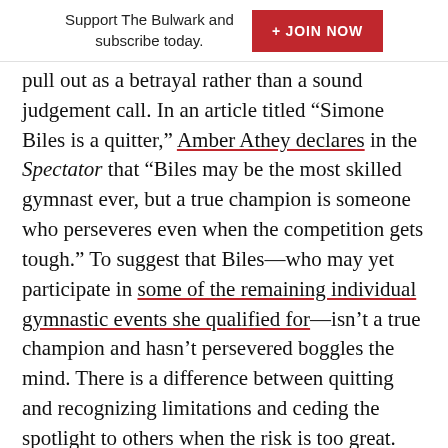Support The Bulwark and subscribe today.  + JOIN NOW
pull out as a betrayal rather than a sound judgement call. In an article titled “Simone Biles is a quitter,” Amber Athey declares in the Spectator that “Biles may be the most skilled gymnast ever, but a true champion is someone who perseveres even when the competition gets tough.” To suggest that Biles—who may yet participate in some of the remaining individual gymnastic events she qualified for—isn’t a true champion and hasn’t persevered boggles the mind. There is a difference between quitting and recognizing limitations and ceding the spotlight to others when the risk is too great. There is maturity and grace in knowing when to work through pain and when to stop.